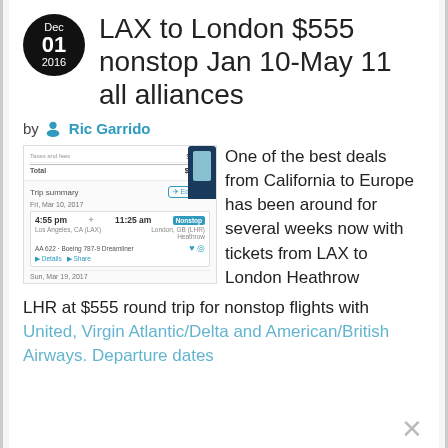LAX to London $555 nonstop Jan 10-May 11 all alliances
by Ric Garrido
[Figure (screenshot): Screenshot of flight booking showing taxes/fees $334.00, Total $554.00, trip summary for Fri Mar 10 2017, flight departing 4:55pm arriving 11:25am nonstop, Los Angeles CA to London Heathrow, AA 622 Boeing 787-9 Dreamliner, return Sun Mar 19 2017]
One of the best deals from California to Europe has been around for several weeks now with tickets from LAX to London Heathrow LHR at $555 round trip for nonstop flights with United, Virgin Atlantic/Delta and American/British Airways. Departure dates